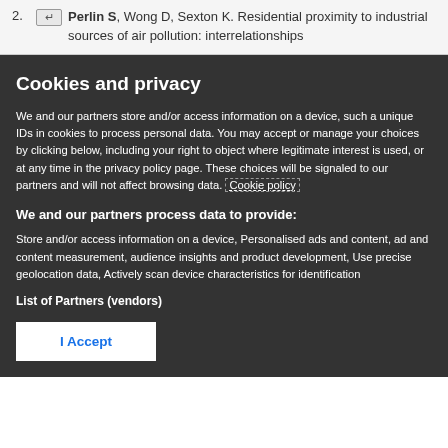2. Perlin S, Wong D, Sexton K. Residential proximity to industrial sources of air pollution: interrelationships
Cookies and privacy
We and our partners store and/or access information on a device, such a unique IDs in cookies to process personal data. You may accept or manage your choices by clicking below, including your right to object where legitimate interest is used, or at any time in the privacy policy page. These choices will be signaled to our partners and will not affect browsing data. Cookie policy
We and our partners process data to provide:
Store and/or access information on a device, Personalised ads and content, ad and content measurement, audience insights and product development, Use precise geolocation data, Actively scan device characteristics for identification
List of Partners (vendors)
I Accept